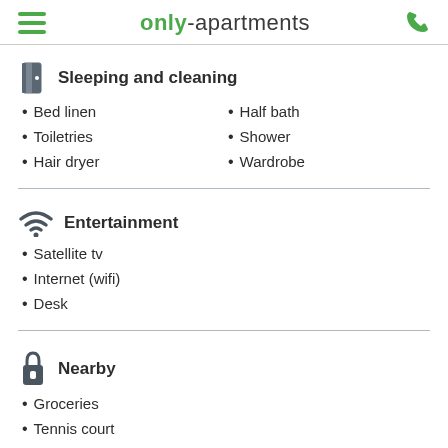only-apartments
Sleeping and cleaning
Bed linen
Toiletries
Hair dryer
Half bath
Shower
Wardrobe
Entertainment
Satellite tv
Internet (wifi)
Desk
Nearby
Groceries
Tennis court